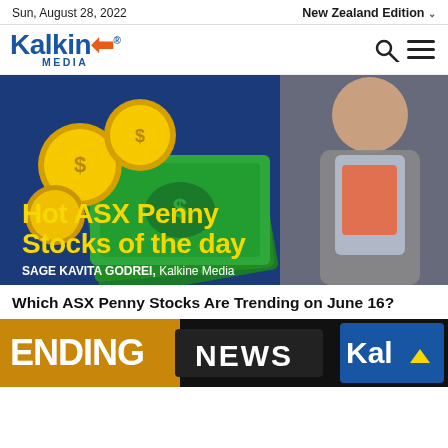Sun, August 28, 2022 | New Zealand Edition
[Figure (logo): Kalkine Media logo with blue text and orange arrow]
[Figure (photo): Image showing gold coins, green money bills, text 'Hot ASX Penny Stocks of the day', presenter Sage Kavita Godrei from Kalkine Media]
Which ASX Penny Stocks Are Trending on June 16?
[Figure (screenshot): Thumbnail showing 'ENDING NEWS' banner with Kal logo on right, Kalkine Media news ticker]